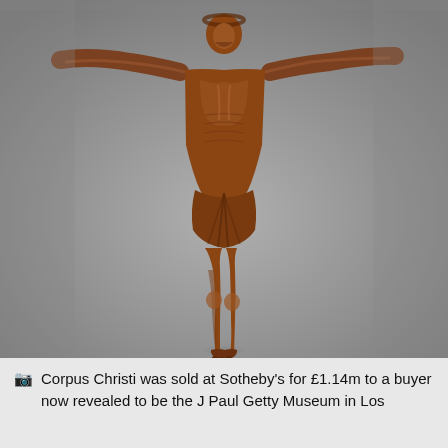[Figure (photo): A wooden carved sculpture of the Corpus Christi (body of Christ) figure on a crucifix, depicted with outstretched arms, detailed musculature, and a loincloth, photographed against a neutral grey gradient background.]
Corpus Christi was sold at Sotheby's for £1.14m to a buyer now revealed to be the J Paul Getty Museum in Los